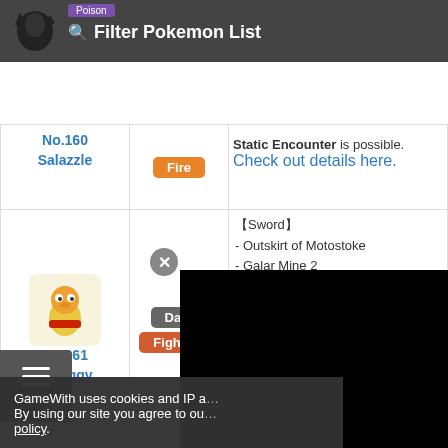Filter Pokemon List
| Pokemon | Type | Info |
| --- | --- | --- |
| No.160 Salazzle | Fire | Static Encounter is possible. Check out details here. |
| No.161 Scraggy | Dark / Fighting | 【Sword】
- Outskirt of Motostoke
- Galar Mine 2
- Bridge Field (Cloudy, Sandstorm)
- Stony Wilderness (Cloudy)
- Dusty Bowl (Clear, Cloudy)
- Giant's Cap (Clear, Cloudy)
- Challenge Road (Sandstorm)
- Potbottom Desert (Sandstorm)
Static Encounter is possible. Check out details here. |
| No.162 Scrafty | Dark / Fighting | Scraggy evolves at Level 39 |
GameWith uses cookies and IP address. By using our site you agree to our cookie policy.